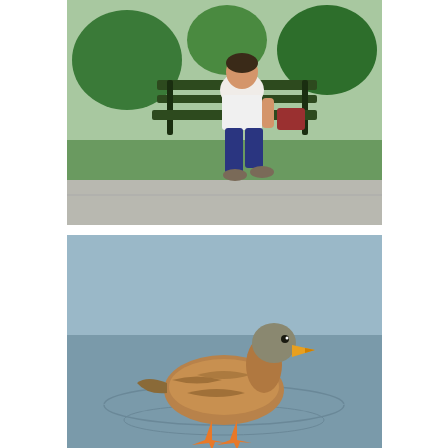[Figure (photo): Person sitting on a park bench outdoors, wearing a white t-shirt and jeans, with grass and trees in the background.]
[Figure (photo): A mallard duck swimming or standing in water, viewed from the side, with ripples around it.]
When Orna returned from her duck photographing escapades in the Boston Common, we considered canceling our plans and heading home. I wasn't feeling up to doing anything, and Orna caught my bug and wasn't up to doing anything either. I realized that a) Orna will not go on